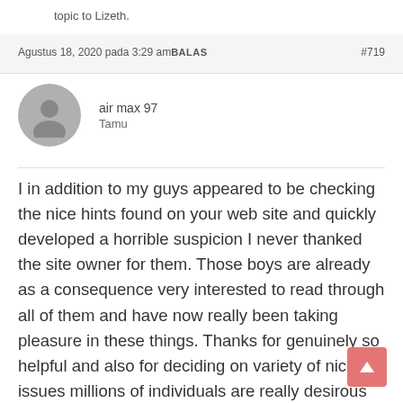topic to Lizeth.
Agustus 18, 2020 pada 3:29 am BALAS   #719
air max 97
Tamu
I in addition to my guys appeared to be checking the nice hints found on your web site and quickly developed a horrible suspicion I never thanked the site owner for them. Those boys are already as a consequence very interested to read through all of them and have now really been taking pleasure in these things. Thanks for genuinely so helpful and also for deciding on variety of nice issues millions of individuals are really desirous to be aware of. My very own honest apologies for not expressing gratitude to sooner.